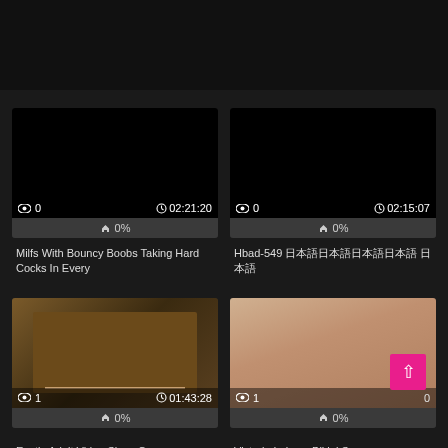[Figure (screenshot): Top banner ad area, dark background]
[Figure (screenshot): Video thumbnail - black/dark, views:0, duration:02:21:20, rating:0%]
Milfs With Bouncy Boobs Taking Hard Cocks In Every
[Figure (screenshot): Video thumbnail - black/dark, views:0, duration:02:15:07, rating:0%]
Hbad-549 日本語テキスト
[Figure (screenshot): Video thumbnail - people at dinner table, views:1, duration:01:43:28, rating:0%]
Exotic Adult Video Slave Cage
[Figure (screenshot): Video thumbnail - blonde woman, views:1, rating:0%]
Victoria Loboys Bikini Sex